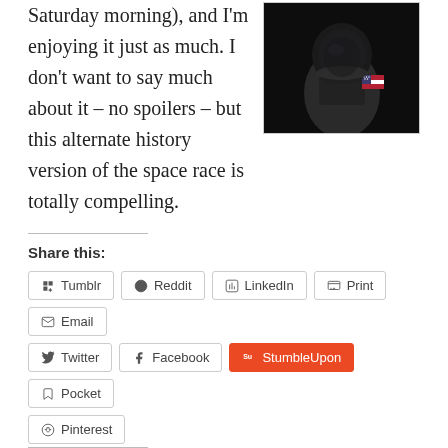Saturday morning), and I'm enjoying it just as much. I don't want to say much about it – no spoilers – but this alternate history version of the space race is totally compelling.
[Figure (photo): Dark photo of an astronaut in a spacesuit with an American flag patch, against a dark background]
Share this:
Tumblr
Reddit
LinkedIn
Print
Email
Twitter
Facebook
StumbleUpon
Pocket
Pinterest